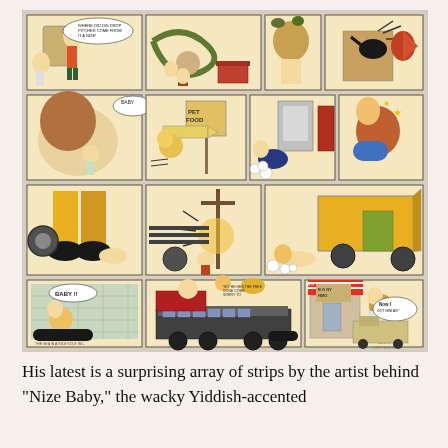[Figure (illustration): A grid of vintage comic strip panels featuring cartoon characters in slapstick scenarios. The strips appear to be from 'Nize Baby' or a similar early 20th century comic strip. Panels show characters running, crashing, and interacting with vehicles and objects in comedic situations. The artwork is in a classic newspaper comic style with color. Four rows of comic panels are visible.]
His latest is a surprising array of strips by the artist behind "Nize Baby," the wacky Yiddish-accented